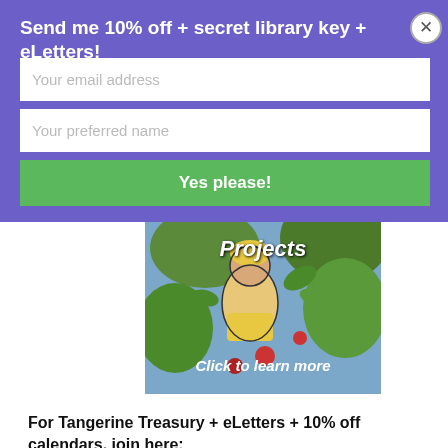Send me 10% off + secret library key + eLetters!
Your email address
Your preferred name
Yes please!
[Figure (illustration): Colorful illustrated image of a person among plants/fruits with overlaid text 'Projects' and 'Click to learn more']
For Tangerine Treasury + eLetters + 10% off calendars, join here:
Your email address